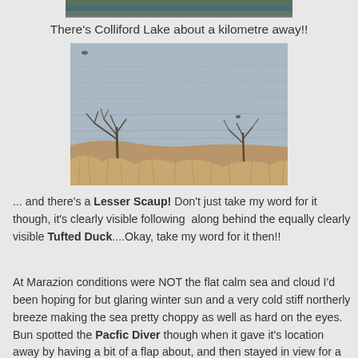[Figure (photo): Partial top of a photo showing green/dark landscape, cropped at top of page]
There's Colliford Lake about a kilometre away!!
[Figure (photo): Photo of Colliford Lake showing a wide expanse of grey-blue water with bare winter trees and dry golden grass in the foreground]
... and there's a Lesser Scaup! Don't just take my word for it though, it's clearly visible following  along behind the equally clearly visible Tufted Duck....Okay, take my word for it then!!
At Marazion conditions were NOT the flat calm sea and cloud I'd been hoping for but glaring winter sun and a very cold stiff northerly breeze making the sea pretty choppy as well as hard on the eyes. Bun spotted the Pacfic Diver though when it gave it's location away by having a bit of a flap about, and then stayed in view for a good ten minutes or